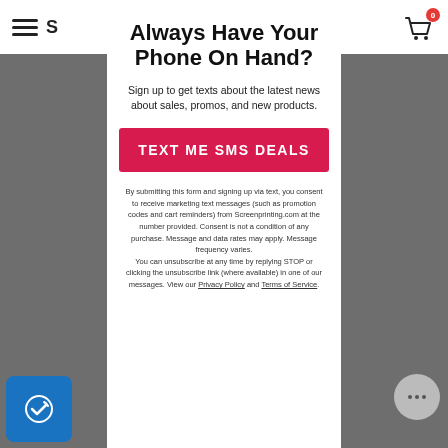Navigation bar with hamburger menu and cart icon
Always Have Your Phone On Hand?
Sign up to get texts about the latest news about sales, promos, and new products.
TEXT ME SMS DEALS
By submitting this form and signing up via text, you consent to receive marketing text messages (such as promotion codes and cart reminders) from Screenprinting.com at the number provided. Consent is not a condition of any purchase. Message and data rates may apply. Message frequency varies. You can unsubscribe at any time by replying STOP or clicking the unsubscribe link (where available) in one of our messages. View our Privacy Policy and Terms of Service.